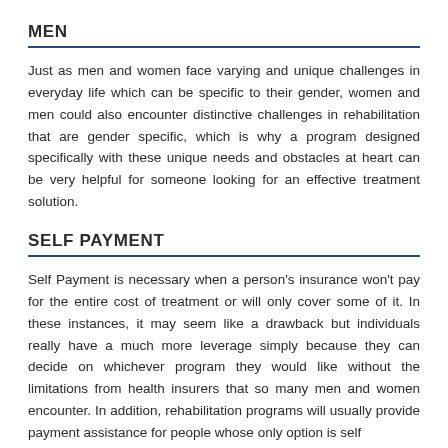MEN
Just as men and women face varying and unique challenges in everyday life which can be specific to their gender, women and men could also encounter distinctive challenges in rehabilitation that are gender specific, which is why a program designed specifically with these unique needs and obstacles at heart can be very helpful for someone looking for an effective treatment solution.
SELF PAYMENT
Self Payment is necessary when a person's insurance won't pay for the entire cost of treatment or will only cover some of it. In these instances, it may seem like a drawback but individuals really have a much more leverage simply because they can decide on whichever program they would like without the limitations from health insurers that so many men and women encounter. In addition, rehabilitation programs will usually provide payment assistance for people whose only option is self